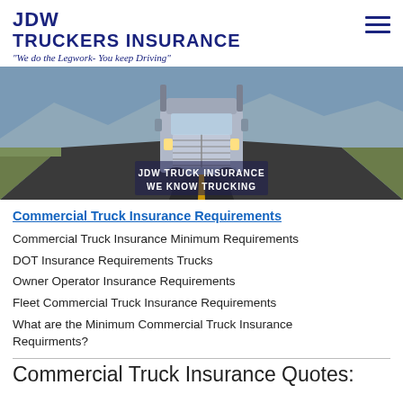JDW TRUCKERS INSURANCE "We do the Legwork- You keep Driving"
[Figure (photo): A large semi truck driving straight toward the camera on an open road with mountains in background. Overlaid text reads 'JDW TRUCK INSURANCE WE KNOW TRUCKING'.]
Commercial Truck Insurance Requirements
Commercial Truck Insurance Minimum Requirements
DOT Insurance Requirements Trucks
Owner Operator Insurance Requirements
Fleet Commercial Truck Insurance Requirements
What are the Minimum Commercial Truck Insurance Requirments?
Commercial Truck Insurance Quotes: